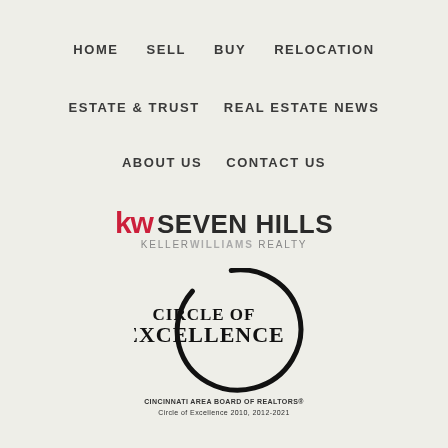HOME   SELL   BUY   RELOCATION
ESTATE & TRUST   REAL ESTATE NEWS
ABOUT US   CONTACT US
[Figure (logo): KW Seven Hills Keller Williams Realty logo with red KW letters]
[Figure (logo): Circle of Excellence logo with black circle and serif text. Cincinnati Area Board of REALTORS®, Circle of Excellence 2010, 2012-2021]